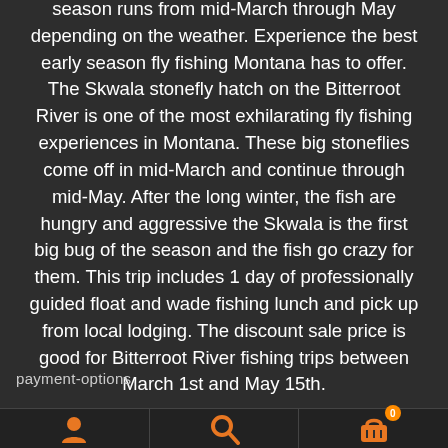season runs from mid-March through May depending on the weather. Experience the best early season fly fishing Montana has to offer. The Skwala stonefly hatch on the Bitterroot River is one of the most exhilarating fly fishing experiences in Montana. These big stoneflies come off in mid-March and continue through mid-May. After the long winter, the fish are hungry and aggressive the Skwala is the first big bug of the season and the fish go crazy for them. This trip includes 1 day of professionally guided float and wade fishing lunch and pick up from local lodging. The discount sale price is good for Bitterroot River fishing trips between March 1st and May 15th.
payment-options
[Figure (other): Navigation footer bar with three icon buttons: user/profile icon, search/magnifying glass icon, and shopping cart icon with badge showing 0]